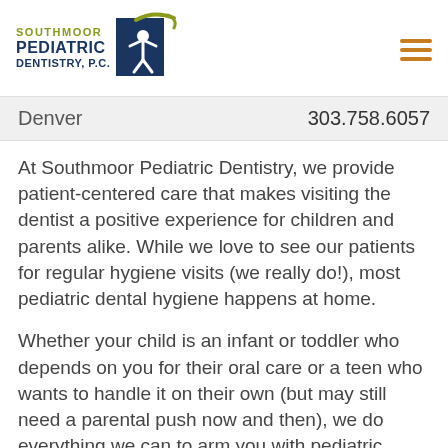[Figure (logo): Southmoor Pediatric Dentistry P.C. logo with blue rectangle and figure icon]
Denver  303.758.6057
At Southmoor Pediatric Dentistry, we provide patient-centered care that makes visiting the dentist a positive experience for children and parents alike. While we love to see our patients for regular hygiene visits (we really do!), most pediatric dental hygiene happens at home.
Whether your child is an infant or toddler who depends on you for their oral care or a teen who wants to handle it on their own (but may still need a parental push now and then), we do everything we can to arm you with pediatric dental hygiene tips that help keep